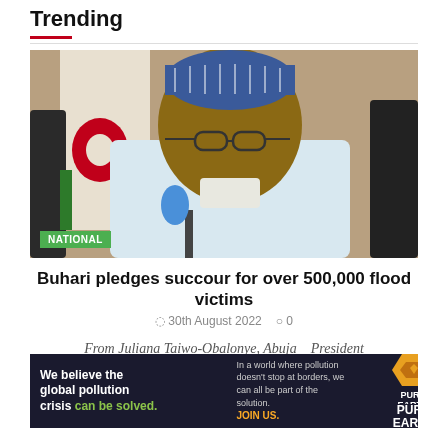Trending
[Figure (photo): Photo of President Muhammadu Buhari seated at a podium with a microphone, wearing glasses and a blue cap and white traditional attire, with a Nigerian flag in the background. A green 'NATIONAL' badge is overlaid at the bottom left.]
Buhari pledges succour for over 500,000 flood victims
30th August 2022   0
From Juliana Taiwo-Obalonye, Abuja   President Muhammadu Buhari after receiving regular updates on the
[Figure (infographic): Pure Earth advertisement banner. Left: 'We believe the global pollution crisis can be solved.' Middle: 'In a world where pollution doesn't stop at borders, we can all be part of the solution. JOIN US.' Right: Pure Earth logo with diamond/arrow icon.]